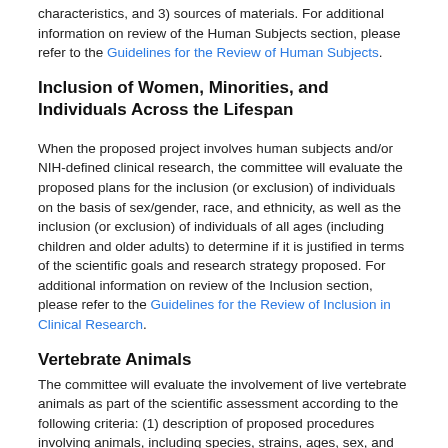characteristics, and 3) sources of materials. For additional information on review of the Human Subjects section, please refer to the Guidelines for the Review of Human Subjects.
Inclusion of Women, Minorities, and Individuals Across the Lifespan
When the proposed project involves human subjects and/or NIH-defined clinical research, the committee will evaluate the proposed plans for the inclusion (or exclusion) of individuals on the basis of sex/gender, race, and ethnicity, as well as the inclusion (or exclusion) of individuals of all ages (including children and older adults) to determine if it is justified in terms of the scientific goals and research strategy proposed. For additional information on review of the Inclusion section, please refer to the Guidelines for the Review of Inclusion in Clinical Research.
Vertebrate Animals
The committee will evaluate the involvement of live vertebrate animals as part of the scientific assessment according to the following criteria: (1) description of proposed procedures involving animals, including species, strains, ages, sex, and total number to be used; (2) justifications for the use of animals versus alternative models and for the appropriateness of the species proposed; (3)